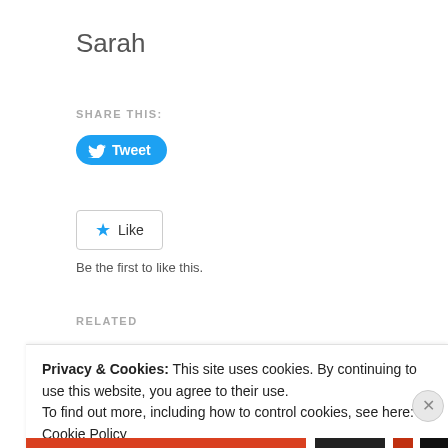Sarah
SHARE THIS:
[Figure (other): Twitter Tweet button - blue rounded button with Twitter bird icon and 'Tweet' text]
[Figure (other): Like button - white rounded rectangle button with blue star icon and 'Like' text]
Be the first to like this.
RELATED
[Figure (photo): Photo of full moon against dark blue sky with bare tree branches silhouetted]
Privacy & Cookies: This site uses cookies. By continuing to use this website, you agree to their use.
To find out more, including how to control cookies, see here: Cookie Policy
Close and accept